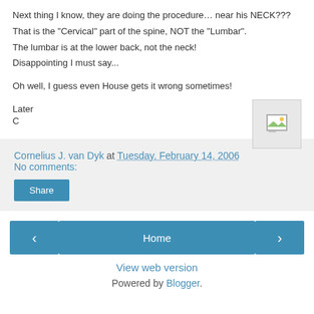Next thing I know, they are doing the procedure… near his NECK???
That is the "Cervical" part of the spine, NOT the "Lumbar".
The lumbar is at the lower back, not the neck!
Disappointing I must say...
[Figure (illustration): Broken image placeholder icon with landscape thumbnail]
Oh well, I guess even House gets it wrong sometimes!
Later
C
Cornelius J. van Dyk at Tuesday, February 14, 2006
No comments:
Share
Home
View web version
Powered by Blogger.